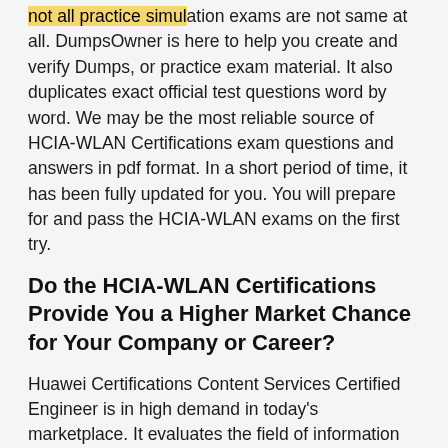not all practice simulation exams are not same at all. DumpsOwner is here to help you create and verify Dumps, or practice exam material. It also duplicates exact official test questions word by word. We may be the most reliable source of HCIA-WLAN Certifications exam questions and answers in pdf format. In a short period of time, it has been fully updated for you. You will prepare for and pass the HCIA-WLAN exams on the first try.
Do the HCIA-WLAN Certifications Provide You a Higher Market Chance for Your Company or Career?
Huawei Certifications Content Services Certified Engineer is in high demand in today's marketplace. It evaluates the field of information technology as well. It might be a perfect chance for you right now to light up your career with great results. Even for beginners, the need for I.T.-certified professionals in